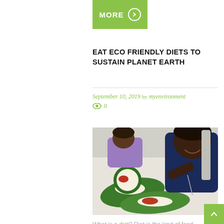[Figure (other): Green MORE button with right arrow icon]
EAT ECO FRIENDLY DIETS TO SUSTAIN PLANET EARTH
September 10, 2019 by myenvironment
👁 0
[Figure (photo): Two children eating food served on banana leaves and green plates at a table]
What is a diet? Diet is the kind of food that a person, animal, or community